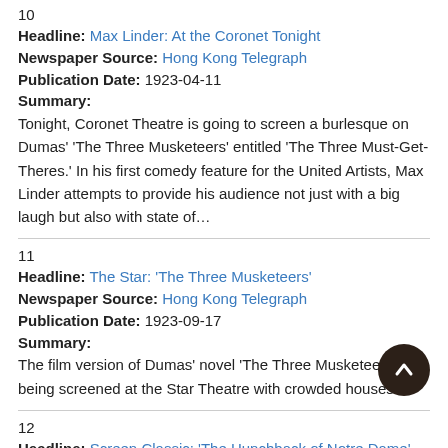10
Headline: Max Linder: At the Coronet Tonight
Newspaper Source: Hong Kong Telegraph
Publication Date: 1923-04-11
Summary:
Tonight, Coronet Theatre is going to screen a burlesque on Dumas' 'The Three Musketeers' entitled 'The Three Must-Get-Theres.' In his first comedy feature for the United Artists, Max Linder attempts to provide his audience not just with a big laugh but also with state of…
11
Headline: The Star: 'The Three Musketeers'
Newspaper Source: Hong Kong Telegraph
Publication Date: 1923-09-17
Summary:
The film version of Dumas' novel 'The Three Musketeers' is being screened at the Star Theatre with crowded houses.
12
Headline: Screen Classic: 'The Hunchback of Notre Dame'